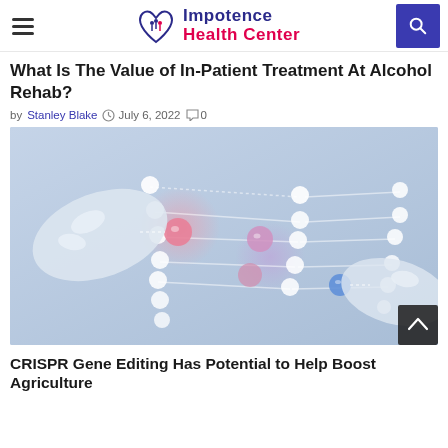Impotence Health Center
What Is The Value of In-Patient Treatment At Alcohol Rehab?
by Stanley Blake  July 6, 2022  0
[Figure (illustration): Illustration of hands manipulating a DNA double helix strand with glowing nodes, representing CRISPR gene editing on a blue-grey background]
CRISPR Gene Editing Has Potential to Help Boost Agriculture